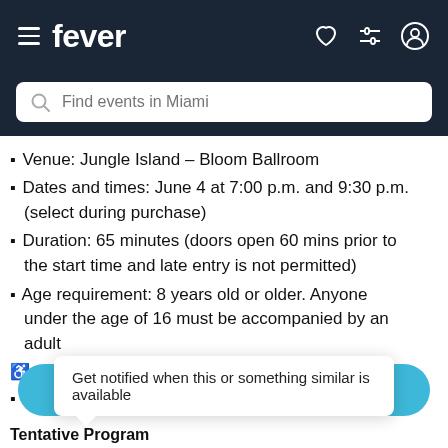fever — navigation bar with hamburger menu, heart icon, filter icon, profile icon
Find events in Miami
Venue: Jungle Island – Bloom Ballroom
Dates and times: June 4 at 7:00 p.m. and 9:30 p.m. (select during purchase)
Duration: 65 minutes (doors open 60 mins prior to the start time and late entry is not permitted)
Age requirement: 8 years old or older. Anyone under the age of 16 must be accompanied by an adult
♿ Accessibility: this venue is ADA compliant
View the FAQ for this event
Get notified when this or something similar is available
GET NOTIFIED
Tentative Program